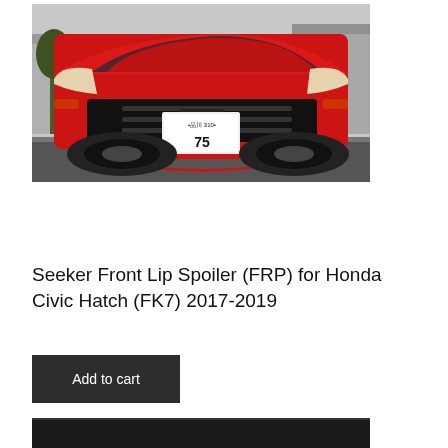[Figure (photo): Front view of a red Honda Civic Hatchback (FK7) with a Seeker front lip spoiler installed, showing the aggressive front bumper, Honda badge, and a Japanese license plate reading 310 / 75, parked on a street with trees and buildings in the background.]
Seeker Front Lip Spoiler (FRP) for Honda Civic Hatch (FK7) 2017-2019
Add to cart
[Figure (photo): Partial bottom photo showing a dark/black view of what appears to be more product imagery, cropped at the bottom of the page.]